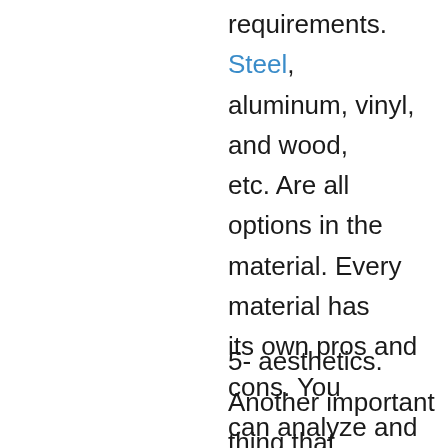requirements. Steel, aluminum, vinyl, and wood, etc. Are all options in the material. Every material has its own pros and cons. You can analyze and can make wise choices.
5- aesthetics.
Another important thing that is not a compromination is the beauty of the garage door. You don't want your garage